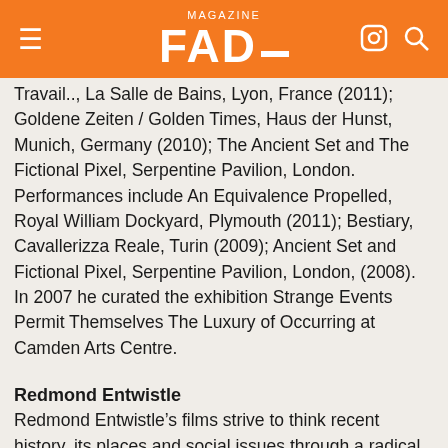FAD magazine
Travail.., La Salle de Bains, Lyon, France (2011); Goldene Zeiten / Golden Times, Haus der Hunst, Munich, Germany (2010); The Ancient Set and The Fictional Pixel, Serpentine Pavilion, London. Performances include An Equivalence Propelled, Royal William Dockyard, Plymouth (2011); Bestiary, Cavallerizza Reale, Turin (2009); Ancient Set and Fictional Pixel, Serpentine Pavilion, London, (2008). In 2007 he curated the exhibition Strange Events Permit Themselves The Luxury of Occurring at Camden Arts Centre.
Redmond Entwistle
Redmond Entwistle’s films strive to think recent history, its places and social issues through a radical documentary approach; replaying, rebuilding, reproducing materials into an abstract and archetypal reality. The works employ both documentary and fictive modes of film-making, investigating histories of social and aesthetic displacement. Essayistic in the most